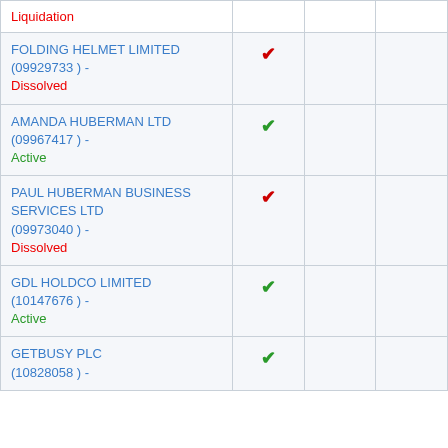| Company |  |  |  |
| --- | --- | --- | --- |
| Liquidation | ✔ |  |  |
| FOLDING HELMET LIMITED (09929733 ) - Dissolved | ✔ |  |  |
| AMANDA HUBERMAN LTD (09967417 ) - Active | ✔ |  |  |
| PAUL HUBERMAN BUSINESS SERVICES LTD (09973040 ) - Dissolved | ✔ |  |  |
| GDL HOLDCO LIMITED (10147676 ) - Active | ✔ |  |  |
| GETBUSY PLC (10828058 ) - | ✔ |  |  |